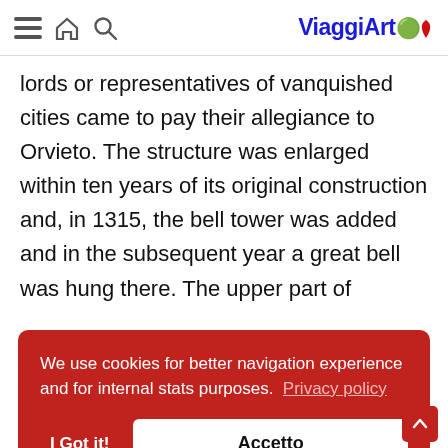ViaggiArt [navigation icons: menu, home, search]
lords or representatives of vanquished cities came to pay their allegiance to Orvieto. The structure was enlarged within ten years of its original construction and, in 1315, the bell tower was added and in the subsequent year a great bell was hung there. The upper part of
We use cookies for better navigation experience and for internal stats purposes. Privacy policy [I Got it!] [Accetto]
approximately to the room known today as